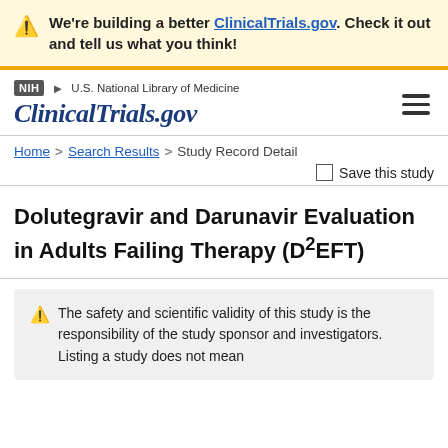We're building a better ClinicalTrials.gov. Check it out and tell us what you think!
[Figure (screenshot): NIH ClinicalTrials.gov website header with navigation logo]
Home > Search Results > Study Record Detail
Save this study
Dolutegravir and Darunavir Evaluation in Adults Failing Therapy (D²EFT)
The safety and scientific validity of this study is the responsibility of the study sponsor and investigators. Listing a study does not mean